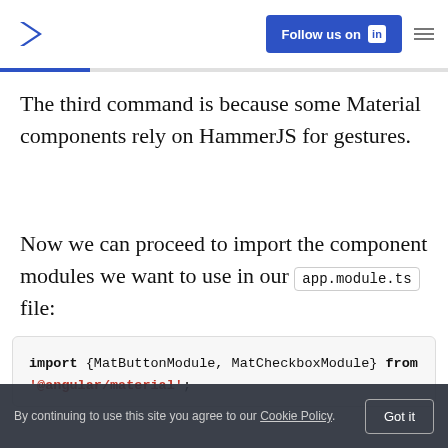Follow us on LinkedIn
The third command is because some Material components rely on HammerJS for gestures.
Now we can proceed to import the component modules we want to use in our app.module.ts file:
[Figure (screenshot): Code block showing: import {MatButtonModule, MatCheckboxModule} from '@angular/material';]
By continuing to use this site you agree to our Cookie Policy.